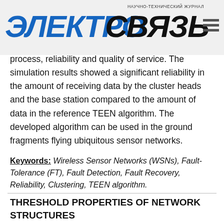ЭЛЕКТРОСВЯЗЬ — НАУЧНО-ТЕХНИЧЕСКИЙ ЖУРНАЛ
process, reliability and quality of service. The simulation results showed a significant reliability in the amount of receiving data by the cluster heads and the base station compared to the amount of data in the reference TEEN algorithm. The developed algorithm can be used in the ground fragments flying ubiquitous sensor networks.
Keywords: Wireless Sensor Networks (WSNs), Fault-Tolerance (FT), Fault Detection, Fault Recovery, Reliability, Clustering, TEEN algorithm.
THRESHOLD PROPERTIES OF NETWORK STRUCTURES